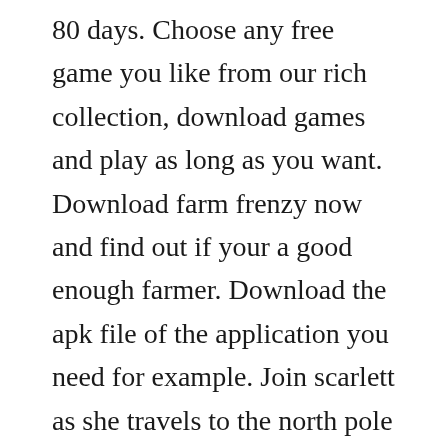80 days. Choose any free game you like from our rich collection, download games and play as long as you want. Download farm frenzy now and find out if your a good enough farmer. Download the apk file of the application you need for example. Join scarlett as she travels to the north pole to check out a farm she purchased. If download doesnt start automatically, click here. All robux codes list noverityoptencrypt samsung s7. Ancient rome long time ago, when rome ruled the world, a courageous young woman